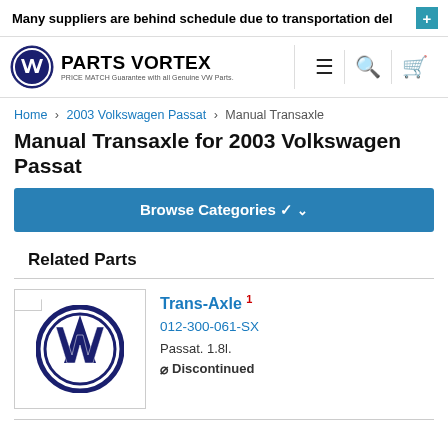Many suppliers are behind schedule due to transportation del
[Figure (logo): Parts Vortex logo with VW roundel and tagline 'PRICE MATCH Guarantee with all Genuine VW Parts.']
Home > 2003 Volkswagen Passat > Manual Transaxle
Manual Transaxle for 2003 Volkswagen Passat
Browse Categories ∨
Related Parts
Trans-Axle 1
012-300-061-SX
Passat. 1.8l.
⊘ Discontinued